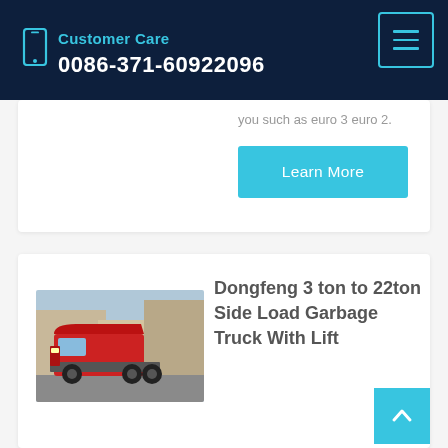Customer Care 0086-371-60922096
you such as euro 3 euro 2.
Learn More
Dongfeng 3 ton to 22ton Side Load Garbage Truck With Lift
[Figure (photo): Red Dongfeng heavy truck chassis parked outdoors]
Dongfeng 3 ton to 22ton Side Load Garbage Truck With Lift System For Traport Food WasteSide loader truck ( Also called side loader garbage